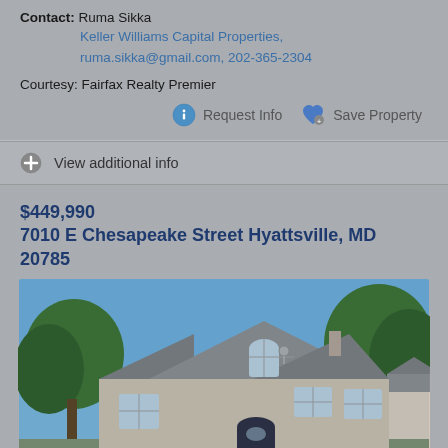Contact: Ruma Sikka
Keller Williams Capital Properties,
ruma.sikka@gmail.com, 202-365-2304
Courtesy: Fairfax Realty Premier
Request Info   Save Property
View additional info
$449,990
7010 E Chesapeake Street Hyattsville, MD 20785
[Figure (photo): Exterior photo of a two-story brick house with gray roof, arched window above front door, and trees in background under blue sky.]